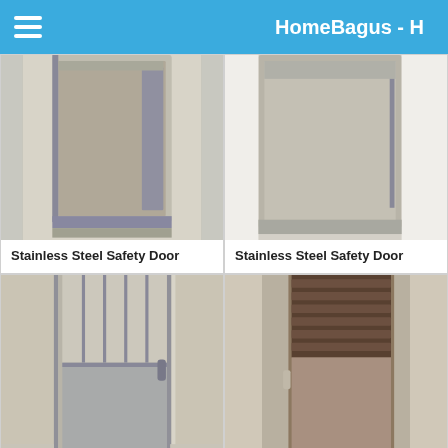HomeBagus - H
[Figure (photo): Stainless steel safety door - partial top view, reflective surface with frame]
Stainless Steel Safety Door
[Figure (photo): Stainless steel safety door - partial top view, white wall background]
Stainless Steel Safety Door
[Figure (photo): Full stainless steel safety door with vertical bars on top half, reflective lower panel, installed in beige wall]
Stainless Steel Safety Door
[Figure (photo): Stainless steel safety door with horizontal louvre slats on upper portion, dark interior visible, partially open]
Stainless Steel Safety Door
[Figure (photo): Stainless steel safety door with horizontal bars, white frame, indoor setting]
[Figure (photo): Dark stainless steel door with horizontal slats, smaller window panel on side]